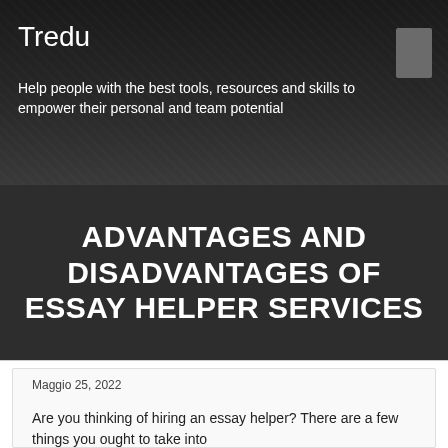Tredu
Help people with the best tools, resources and skills to empower their personal and team potential
ADVANTAGES AND DISADVANTAGES OF ESSAY HELPER SERVICES
Maggio 25, 2022
Are you thinking of hiring an essay helper? There are a few things you ought to take into